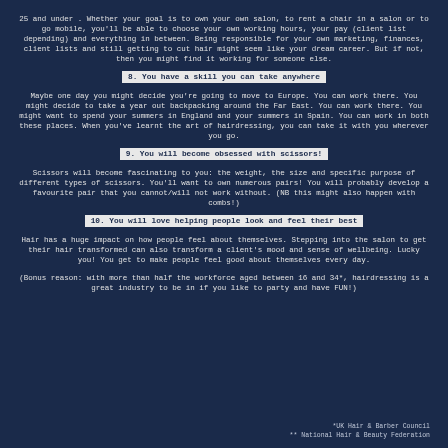25 and under . Whether your goal is to own your own salon, to rent a chair in a salon or to go mobile, you'll be able to choose your own working hours, your pay (client list depending) and everything in between. Being responsible for your own marketing, finances, client lists and still getting to cut hair might seem like your dream career. But if not, then you might find it working for someone else.
8. You have a skill you can take anywhere
Maybe one day you might decide you're going to move to Europe. You can work there. You might decide to take a year out backpacking around the Far East. You can work there. You might want to spend your summers in England and your summers in Spain. You can work in both these places. When you've learnt the art of hairdressing, you can take it with you wherever you go.
9. You will become obsessed with scissors!
Scissors will become fascinating to you: the weight, the size and specific purpose of different types of scissors. You'll want to own numerous pairs! You will probably develop a favourite pair that you cannot/will not work without. (NB this might also happen with combs!)
10. You will love helping people look and feel their best
Hair has a huge impact on how people feel about themselves. Stepping into the salon to get their hair transformed can also transform a client's mood and sense of wellbeing. Lucky you! You get to make people feel good about themselves every day.
(Bonus reason: with more than half the workforce aged between 16 and 34*, hairdressing is a great industry to be in if you like to party and have FUN!)
*UK Hair & Barber Council
** National Hair & Beauty Federation